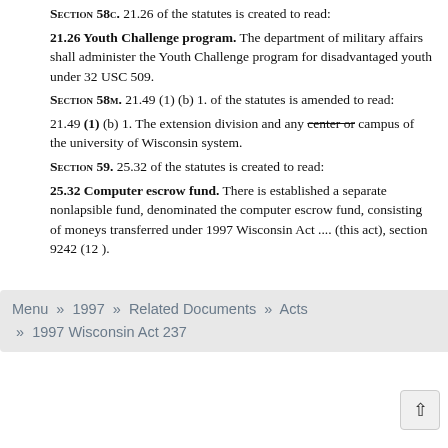Section 58c. 21.26 of the statutes is created to read:
21.26 Youth Challenge program. The department of military affairs shall administer the Youth Challenge program for disadvantaged youth under 32 USC 509.
Section 58m. 21.49 (1) (b) 1. of the statutes is amended to read:
21.49 (1) (b) 1. The extension division and any center or campus of the university of Wisconsin system.
Section 59. 25.32 of the statutes is created to read:
25.32 Computer escrow fund. There is established a separate nonlapsible fund, denominated the computer escrow fund, consisting of moneys transferred under 1997 Wisconsin Act .... (this act), section 9242 (12 ).
Menu » 1997 » Related Documents » Acts » 1997 Wisconsin Act 237